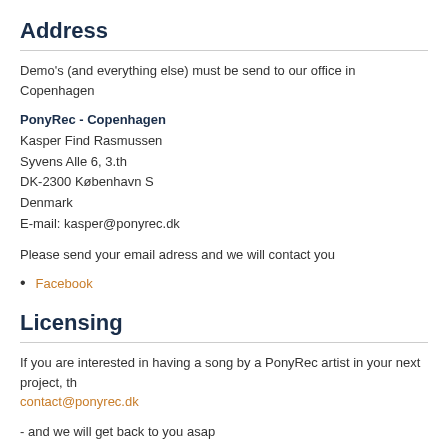Address
Demo's (and everything else) must be send to our office in Copenhagen
PonyRec - Copenhagen
Kasper Find Rasmussen
Syvens Alle 6, 3.th
DK-2300 København S
Denmark
E-mail: kasper@ponyrec.dk
Please send your email adress and we will contact you
Facebook
Licensing
If you are interested in having a song by a PonyRec artist in your next project, th contact@ponyrec.dk
- and we will get back to you asap
Results so far
Speaker Bite Me (Ditte & Louise - Movie)
SVIN (Min mor er pink - Documentary)
Evil Death Machine (Jugend ohne Gott - Movie)